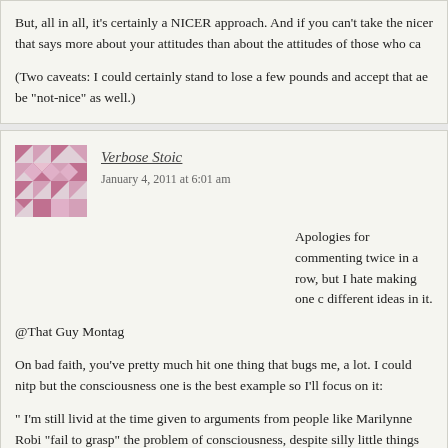But, all in all, it's certainly a NICER approach. And if you can't take the nicer that says more about your attitudes than about the attitudes of those who ca

(Two caveats: I could certainly stand to lose a few pounds and accept that ae be "not-nice" as well.)
Verbose Stoic
January 4, 2011 at 6:01 am

Apologies for commenting twice in a row, but I hate making one c different ideas in it.

@That Guy Montag

On bad faith, you've pretty much hit one thing that bugs me, a lot. I could nitp but the consciousness one is the best example so I'll focus on it:

" I'm still livid at the time given to arguments from people like Marilynne Robi "fail to grasp" the problem of consciousness, despite silly little things like Dan major living philosophers of the mind. "

Well, other major living philosphers of mind do, in fact, also claim that Denne consciousness, so it's not like it's an unfair charge. Heck, Dennett himself wo grasp the problem of consciousness, but that's because he thinks it's an inve